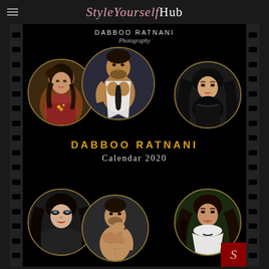StyleYourselfHub
DABBOO RATNANI
Photography
[Figure (photo): Dabboo Ratnani Calendar 2020 promotional image showing six circular portrait photos of Bollywood celebrities arranged on a black film strip background with gold borders. Top row: female actress in ethnic wear, male actor (Tiger Shroff) shirtless, female actress in black lingerie. Center text: DABBOO RATNANI Calendar 2020. Bottom row: female actress (Aishwarya Rai), male actor shirtless, female actress (Vidya Balan) in white.]
DABBOO RATNANI
Calendar  2020